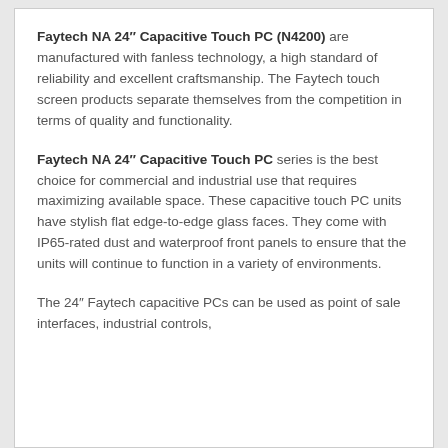Faytech NA 24″ Capacitive Touch PC (N4200) are manufactured with fanless technology, a high standard of reliability and excellent craftsmanship. The Faytech touch screen products separate themselves from the competition in terms of quality and functionality.
Faytech NA 24″ Capacitive Touch PC series is the best choice for commercial and industrial use that requires maximizing available space. These capacitive touch PC units have stylish flat edge-to-edge glass faces. They come with IP65-rated dust and waterproof front panels to ensure that the units will continue to function in a variety of environments.
The 24″ Faytech capacitive PCs can be used as point of sale interfaces, industrial controls, and kioskounting systems, among other uses.